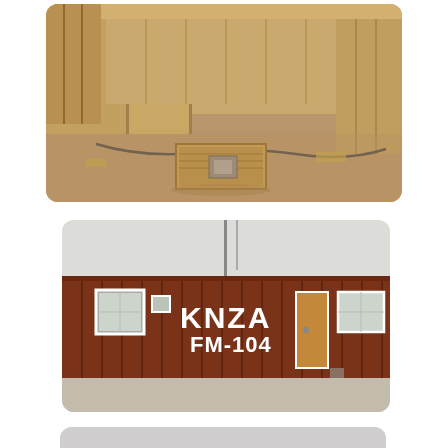[Figure (photo): Interior of a building under construction with plywood walls, dirt floor, and a wooden frame box/form in the center. Construction debris and hoses visible.]
[Figure (photo): Exterior of a brown wood-paneled building with white painted text reading 'KNZA FM-104' on the wall. Two windows and a door visible. Gravel and dirt around the building.]
[Figure (photo): Landscape photo showing a flat rural field under a cloudy sky with a red and white semi-truck/trailer visible in the lower portion of the image.]